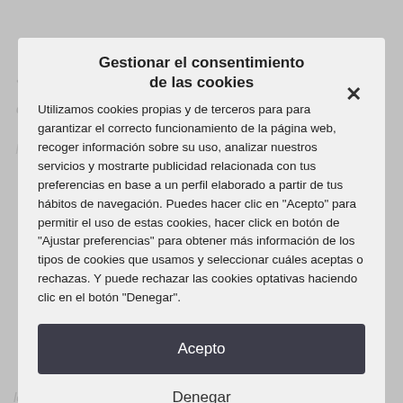[Figure (screenshot): Cookie consent modal dialog overlay on a webpage. The modal has title 'Gestionar el consentimiento de las cookies', body text explaining cookie usage, a close X button, and three buttons: 'Acepto', 'Denegar', 'Ajustar preferencias'. Behind the modal, italic Spanish text is partially visible.]